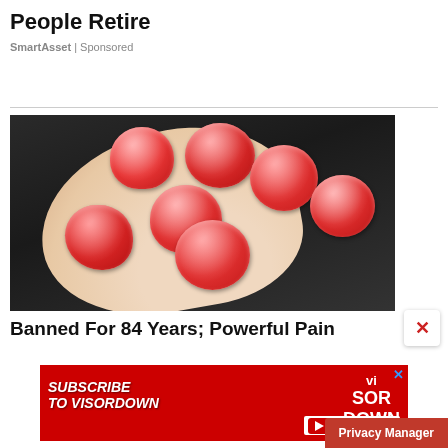Ashburn Startup Is Changing the Way People Retire
SmartAsset | Sponsored
[Figure (photo): A hand holding several red sugary gummy candies against a dark background]
Banned For 84 Years; Powerful Pain
[Figure (screenshot): Advertisement banner: Subscribe to Visordown - YouTube channel promotion with red background and Visor Down logo]
Privacy Manager